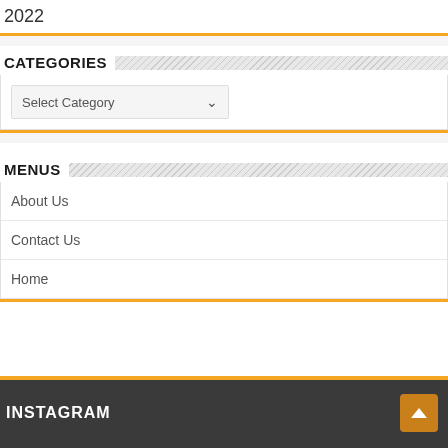2022
CATEGORIES
Select Category
MENUS
About Us
Contact Us
Home
INSTAGRAM